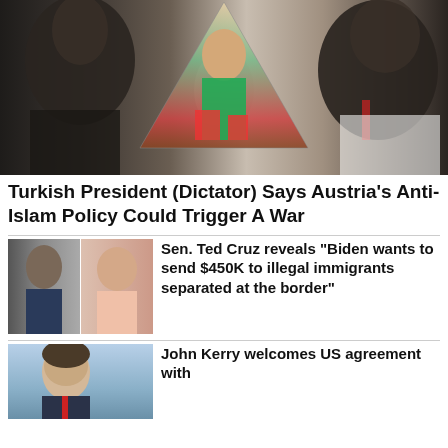[Figure (photo): Composite image showing two men facing each other (one young man on left, one older man on right), with a triangular inset image of a person in colorful clothing in the center]
Turkish President (Dictator) Says Austria's Anti-Islam Policy Could Trigger A War
[Figure (photo): Two side-by-side thumbnail photos of people]
Sen. Ted Cruz reveals "Biden wants to send $450K to illegal immigrants separated at the border"
[Figure (photo): Photo of John Kerry]
John Kerry welcomes US agreement with